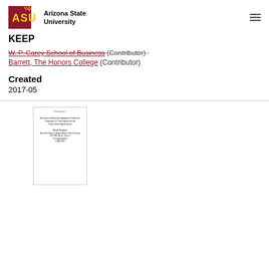Arizona State University — KEEP
W. P. Carey School of Business (Contributor)
Barrett, The Honors College (Contributor)
Created
2017-05
[Figure (other): Thumbnail preview of a document title page for 'A Context and Resource Analysis of California's Proposition 22: Prescriptions for the Future of the Gig Economy']